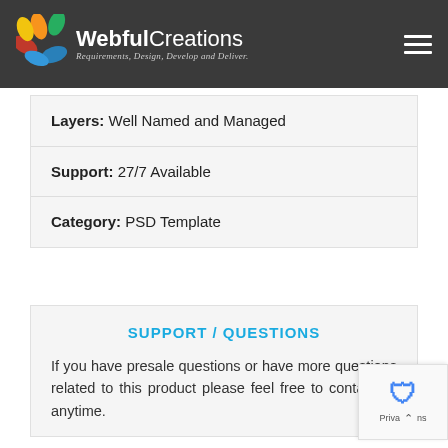WebfulCreations — Requirements, Design, Develop and Deliver.
Layers: Well Named and Managed
Support: 27/7 Available
Category: PSD Template
SUPPORT / QUESTIONS
If you have presale questions or have questions related to this product please feel to contact us anytime.